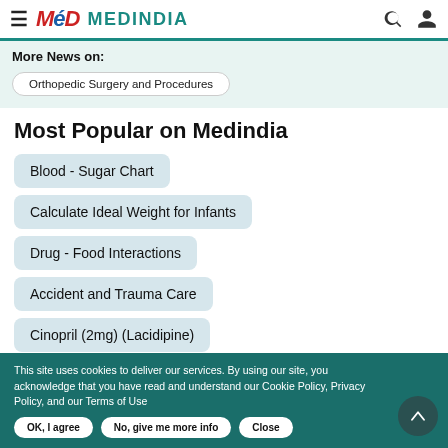MEDINDIA
More News on:
Orthopedic Surgery and Procedures
Most Popular on Medindia
Blood - Sugar Chart
Calculate Ideal Weight for Infants
Drug - Food Interactions
Accident and Trauma Care
Cinopril (2mg) (Lacidipine)
This site uses cookies to deliver our services. By using our site, you acknowledge that you have read and understand our Cookie Policy, Privacy Policy, and our Terms of Use
OK, I agree | No, give me more info | Close